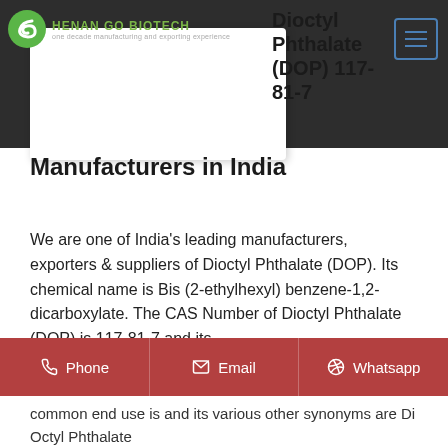[Figure (logo): Henan Go Biotech logo — green circular icon with white swoosh, text 'HENAN GO BIOTECH' in green, tagline 'one decade manufacturing and exporting experience' in grey]
Dioctyl Phthalate (DOP) 117-81-7 Manufacturers in India
We are one of India's leading manufacturers, exporters & suppliers of Dioctyl Phthalate (DOP). Its chemical name is Bis (2-ethylhexyl) benzene-1,2-dicarboxylate. The CAS Number of Dioctyl Phthalate (DOP) is 117-81-7 and its common end use is and its various other synonyms are Di Octyl Phthalate
Phone   Email   Whatsapp